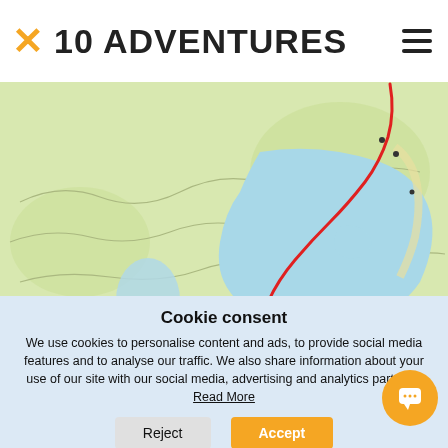10 ADVENTURES
[Figure (map): Topographic trail map showing McConnell Lake Trail marked in red, with a blue lake in the center, green terrain with contour lines, and small ponds to the left.]
03. McConnell Lake Trail
Difficulty [bar indicators]
Cookie consent
We use cookies to personalise content and ads, to provide social media features and to analyse our traffic. We also share information about your use of our site with our social media, advertising and analytics partners. Read More
Reject  Accept